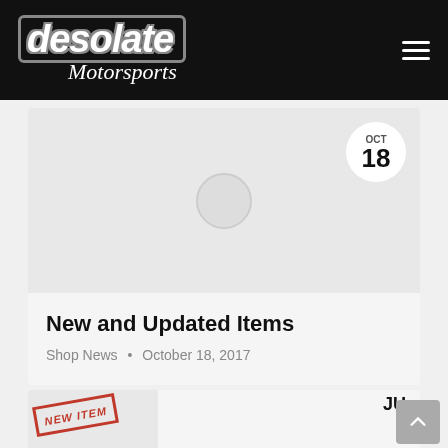[Figure (logo): Desolate Motorsports logo in white italic text with grey outline border on black background]
[Figure (photo): Blog post thumbnail image placeholder (grey rectangle) with circular date badge showing OCT 18 and a circular placeholder image icon]
New and Updated Items
Shop News • October 18, 2017
[Figure (photo): Partial blog post card showing NEW ITEM stamp graphic in red and partial date badge on right]